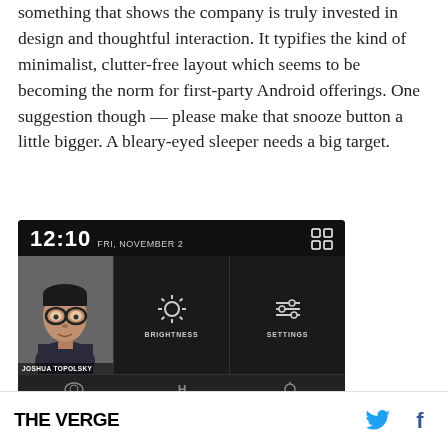something that shows the company is truly invested in design and thoughtful interaction. It typifies the kind of minimalist, clutter-free layout which seems to be becoming the norm for first-party Android offerings. One suggestion though — please make that snooze button a little bigger. A bleary-eyed sleeper needs a big target.
[Figure (screenshot): Android lock screen screenshot showing time 12:10, date FRI, NOVEMBER 2, a photo of Joshua Topolsky, Brightness and Settings controls, and bottom navigation bar.]
THE VERGE